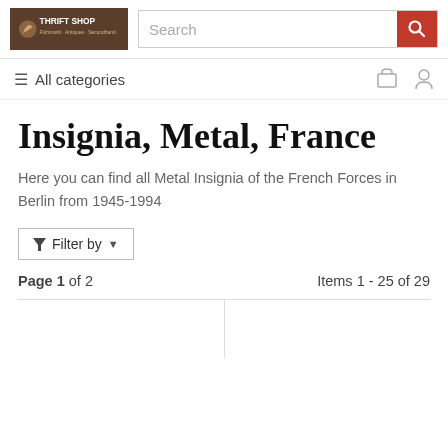[Figure (logo): Thrift Shop logo with brown background and white text]
Search
≡ All categories
Insignia, Metal, France
Here you can find all Metal Insignia of the French Forces in Berlin from 1945-1994
▼ Filter by ▼
Page 1 of 2    Items 1 - 25 of 29